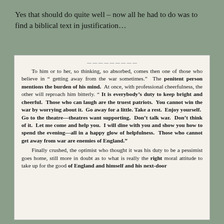Yes that should do quite well – now all he had to do was to find a biblical text in justification...
To him or to her, so thinking, so absorbed, comes then one of those who believe in "getting away from the war sometimes." The penitent person mentions the burden of his mind. At once, with professional cheerfulness, the other will reproach him bitterly. "It is everybody's duty to keep bright and cheerful. Those who can laugh are the truest patriots. You cannot win the war by worrying about it. Go away for a little. Take a rest. Enjoy yourself. Go to the theatre—theatres want supporting. Don't talk war. Don't think of it. Let me come and help you. I will dine with you and show you how to spend the evening—all in a happy glow of helpfulness. Those who cannot get away from war are enemies of England."

Finally crushed, the optimist who thought it was his duty to be a pessimist goes home, still more in doubt as to what is really the right moral attitude to take up for the good of England and himself and his next-door neighbour...